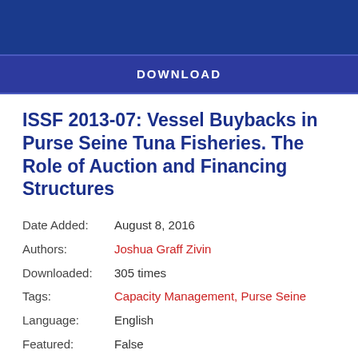[Figure (other): Blue header banner bar at top of page]
DOWNLOAD
ISSF 2013-07: Vessel Buybacks in Purse Seine Tuna Fisheries. The Role of Auction and Financing Structures
| Date Added: | August 8, 2016 |
| Authors: | Joshua Graff Zivin |
| Downloaded: | 305 times |
| Tags: | Capacity Management, Purse Seine |
| Language: | English |
| Featured: | False |
| Report Type: | Technical Report |